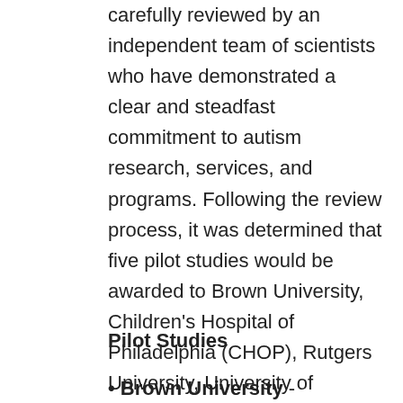carefully reviewed by an independent team of scientists who have demonstrated a clear and steadfast commitment to autism research, services, and programs. Following the review process, it was determined that five pilot studies would be awarded to Brown University, Children's Hospital of Philadelphia (CHOP), Rutgers University, University of Connecticut School of Business (UConn), and University of Texas at Dallas (UTD).
Pilot Studies
• Brown University - Mechanisms of